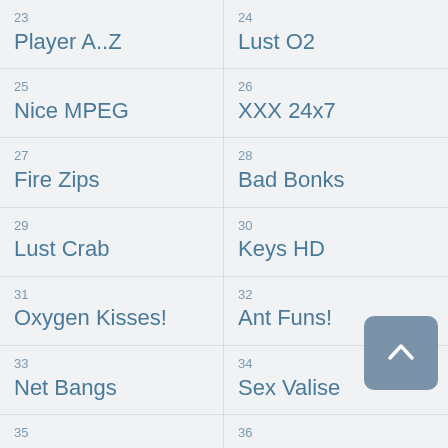23 Player A..Z
24 Lust O2
25 Nice MPEG
26 XXX 24x7
27 Fire Zips
28 Bad Bonks
29 Lust Crab
30 Keys HD
31 Oxygen Kisses!
32 Ant Funs!
33 Net Bangs
34 Sex Valise
35 Vulva 4 U!
36 Red 24x7
37 Brash Day
38 Brash Pub
39
40